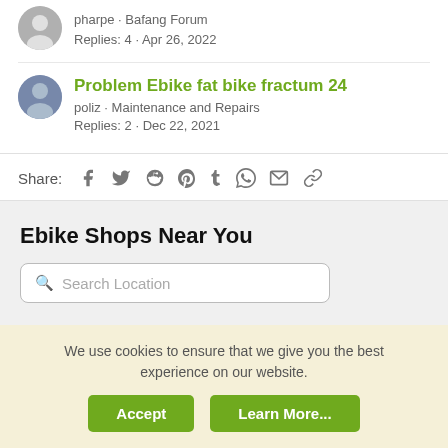pharpe · Bafang Forum
Replies: 4 · Apr 26, 2022
Problem Ebike fat bike fractum 24
poliz · Maintenance and Repairs
Replies: 2 · Dec 22, 2021
Share: f 🐦 reddit pinterest tumblr whatsapp email link
[Figure (infographic): Ebike Shops Near You widget with a search location input box]
We use cookies to ensure that we give you the best experience on our website.
Accept   Learn More...